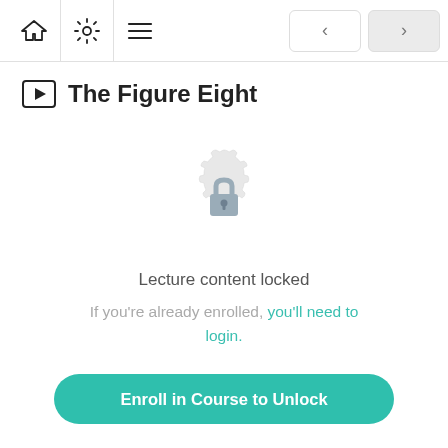The Figure Eight
The Figure Eight
[Figure (illustration): Lock icon inside a decorative gear/badge shape, indicating locked lecture content]
Lecture content locked
If you're already enrolled, you'll need to login.
Enroll in Course to Unlock